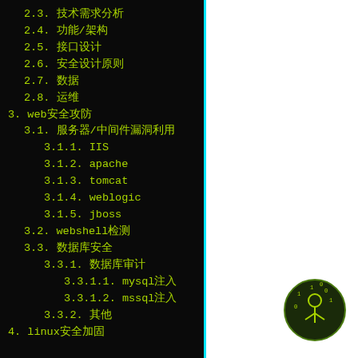2.3. 技术需求分析
2.4. 功能/架构
2.5. 接口设计
2.6. 安全设计原则
2.7. 数据
2.8. 运维
3. web安全攻防
3.1. 服务器/中间件漏洞利用
3.1.1. IIS
3.1.2. apache
3.1.3. tomcat
3.1.4. weblogic
3.1.5. jboss
3.2. webshell检测
3.3. 数据库安全
3.3.1. 数据库审计
3.3.1.1. mysql注入
3.3.1.2. mssql注入
3.3.2. 其他
4. linux安全加固